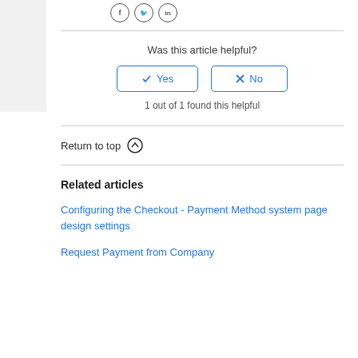[Figure (illustration): Social media share icons: Facebook, Twitter, LinkedIn in circles]
Was this article helpful?
[Figure (other): Yes and No buttons with checkmark and X icons]
1 out of 1 found this helpful
Return to top ↑
Related articles
Configuring the Checkout - Payment Method system page design settings
Request Payment from Company